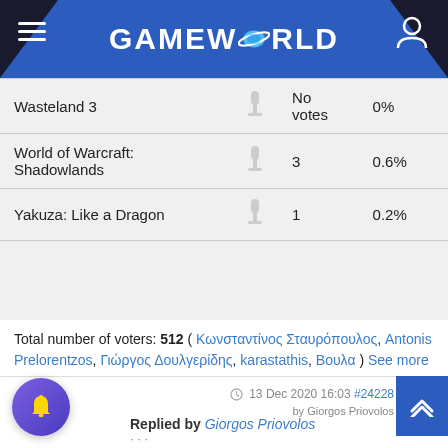GAMEWORLD
| Game |  | Votes | Percent |
| --- | --- | --- | --- |
| Wasteland 3 |  | No votes | 0% |
| World of Warcraft: Shadowlands |  | 3 | 0.6% |
| Yakuza: Like a Dragon |  | 1 | 0.2% |
Total number of voters: 512 ( Κωνσταντίνος Σταυρόπουλος, Antonis Prelorentzos, Γιώργος Δουλγερίδης, karastathis, Βουλα ) See more
Only registered users can participate to this poll
13 Dec 2020 16:03 #24228 by Giorgos Priovolos  Replied by Giorgos Priovolos